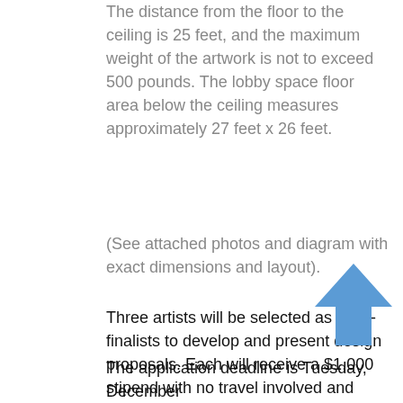The distance from the floor to the ceiling is 25 feet, and the maximum weight of the artwork is not to exceed 500 pounds. The lobby space floor area below the ceiling measures approximately 27 feet x 26 feet.
(See attached photos and diagram with exact dimensions and layout).
Three artists will be selected as semi-finalists to develop and present design proposals. Each will receive a $1,000 stipend with no travel involved and $1500 with travel of more than 500 miles. The winning artist will be awarded a $50,000 contract and will be responsible for the creation and installation of the final work.
[Figure (illustration): Blue upward-pointing arrow icon]
The application deadline is Tuesday, December